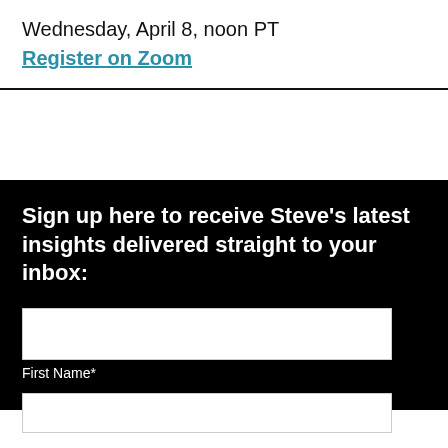Wednesday, April 8, noon PT
Register on Zoom
Sign up here to receive Steve’s latest insights delivered straight to your inbox:
First Name*